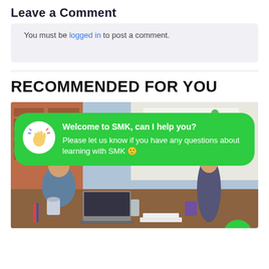Leave a Comment
You must be logged in to post a comment.
RECOMMENDED FOR YOU
[Figure (screenshot): Office scene with people working at a table with laptops, mugs, and papers. Overlaid with a green chat bubble saying 'Welcome to SMK, can I help you?' and body text 'Please let us know if you have any questions about learning with SMK 🙂'. A green circular chat button is in the bottom right.]